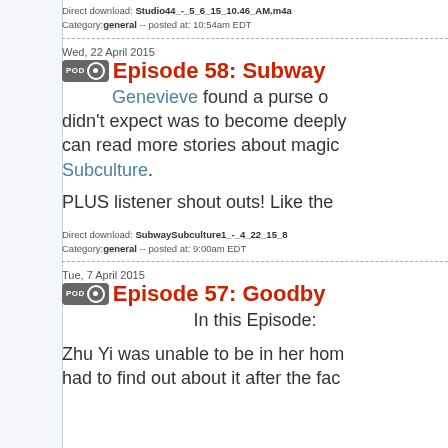Direct download: Studio44_-_5_6_15_10.46_AM.m4a
Category: general -- posted at: 10:54am EDT
Wed, 22 April 2015
Episode 58: Subway...
Genevieve found a purse o... didn't expect was to become deeply... can read more stories about magic... Subculture.
PLUS listener shout outs! Like the...
Direct download: SubwaySubculture1_-_4_22_15_8...
Category: general -- posted at: 9:00am EDT
Tue, 7 April 2015
Episode 57: Goodbye...
In this Episode:
Zhu Yi was unable to be in her hom... had to find out about it after the fac...